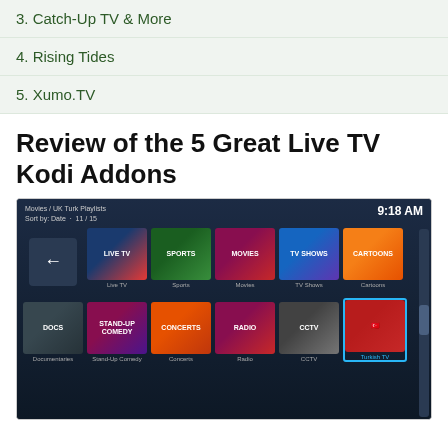3. Catch-Up TV & More
4. Rising Tides
5. Xumo.TV
Review of the 5 Great Live TV Kodi Addons
[Figure (screenshot): Kodi media player interface showing Movies/UK Turk Playlists with categories: Live TV, Sports, Movies, TV Shows, Cartoons, Documentaries, Stand-Up Comedy, Concerts, Radio, CCTV, Turkish TV. Time shown: 9:18 AM, Sort by: Date, 11/15]